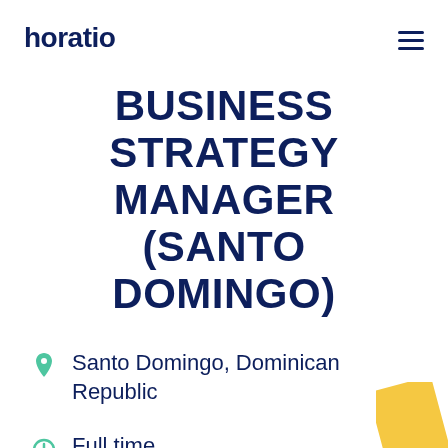horatio
BUSINESS STRATEGY MANAGER (SANTO DOMINGO)
Santo Domingo, Dominican Republic
Full time